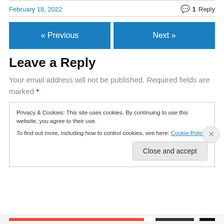February 18, 2022
1 Reply
« Previous
Next »
Leave a Reply
Your email address will not be published. Required fields are marked *
Privacy & Cookies: This site uses cookies. By continuing to use this website, you agree to their use. To find out more, including how to control cookies, see here: Cookie Policy